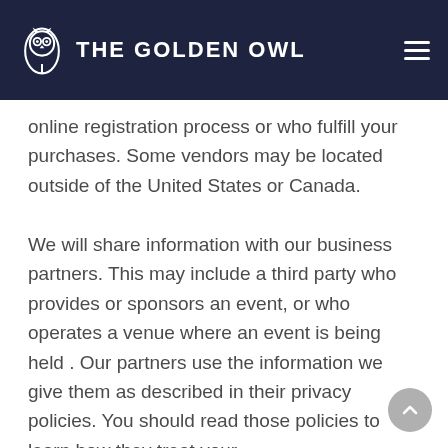THE GOLDEN OWL
online registration process or who fulfill your purchases. Some vendors may be located outside of the United States or Canada.
We will share information with our business partners. This may include a third party who provides or sponsors an event, or who operates a venue where an event is being held . Our partners use the information we give them as described in their privacy policies. You should read those policies to learn how they treat your